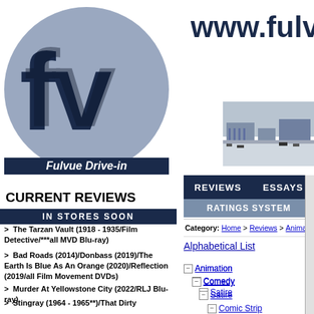[Figure (logo): Fulvue Drive-in logo: dark navy 'fv' letters on grey circle with label 'Fulvue Drive-in' at bottom]
www.fulvue...
REVIEWS   ESSAYS
RATINGS SYSTEM
Category:  Home > Reviews > Animation > Comed...
CURRENT REVIEWS
IN STORES SOON
> The Tarzan Vault (1918 - 1935/Film Detective/***all MVD Blu-ray)
> Bad Roads (2014)/Donbass (2019)/The Earth Is Blue As An Orange (2020)/Reflection (2019/all Film Movement DVDs)
> Murder At Yellowstone City (2022/RLJ Blu-ray)
> Stingray (1964 - 1965**)/That Dirty Black Bag: Season 1 (2022/AMC/RLJ Blu-ray)/Wanted: Dead Or Alive (1958 - 1961/**both Via Vision PAL Region Free Import DVD Complete Series sets)
> Batwoman: The Complete Third &...
Alphabetical List
- Animation
- Comedy
- Satire
- Comic Strip
- Fantasy
- Musical
- Literature
- Fable
+ Magic
+ Cable TV